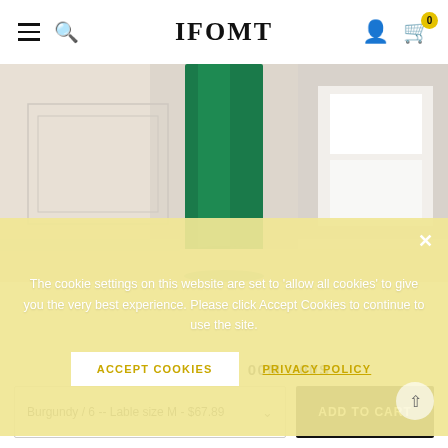IFOMT — navigation header with hamburger menu, search, user icon, cart (0 items)
[Figure (photo): Fashion e-commerce hero image showing a model in a green dress against a light beige interior background]
The cookie settings on this website are set to 'allow all cookies' to give you the very best experience. Please click Accept Cookies to continue to use the site.
ACCEPT COOKIES
PRIVACY POLICY
00D : 00H : 00M : 00S
Burgundy / 6 -- Lable size M - $67.89
ADD TO CART